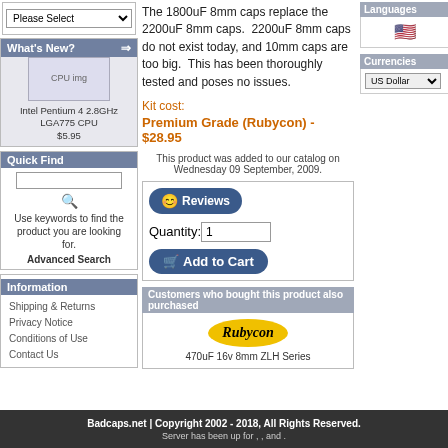What's New?
[Figure (other): Intel Pentium 4 2.8GHz LGA775 CPU product image thumbnail]
Intel Pentium 4 2.8GHz LGA775 CPU $5.95
Quick Find
Use keywords to find the product you are looking for.
Advanced Search
Information
Shipping & Returns
Privacy Notice
Conditions of Use
Contact Us
The 1800uF 8mm caps replace the 2200uF 8mm caps. 2200uF 8mm caps do not exist today, and 10mm caps are too big. This has been thoroughly tested and poses no issues.
Kit cost:
Premium Grade (Rubycon) - $28.95
This product was added to our catalog on Wednesday 09 September, 2009.
[Figure (other): Reviews button and Add to Cart button with quantity input field]
Customers who bought this product also purchased
[Figure (logo): Rubycon logo on yellow oval background]
470uF 16v 8mm ZLH Series
Languages
[Figure (other): US flag icon]
Currencies
US Dollar
Badcaps.net | Copyright 2002 - 2018, All Rights Reserved. Server has been up for , , and .